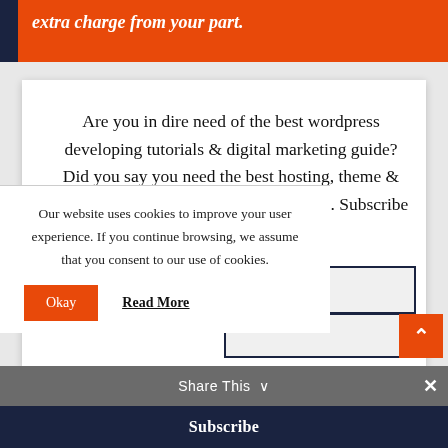extra charge from your part.
Are you in dire need of the best wordpress developing tutorials & digital marketing guide? Did you say you need the best hosting, theme & plugin reviews too? Well, look no more. Subscribe with us right now and ...ters, guides
Our website uses cookies to improve your user experience. If you continue browsing, we assume that you consent to our use of cookies.
Okay
Read More
Share This ∨
Subscribe